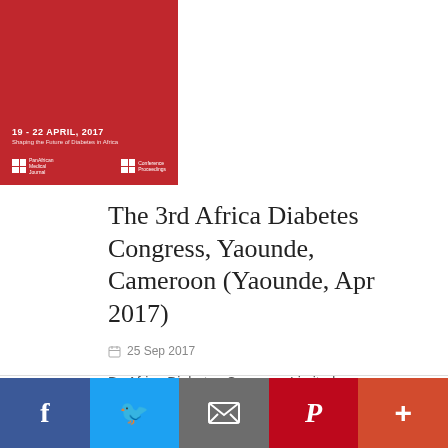[Figure (illustration): Red conference proceedings book cover for the 3rd Africa Diabetes Congress, Yaounde Cameroon, 19-22 April 2017, with logos for PanAfrican Medical Journal and Conference Proceedings]
The 3rd Africa Diabetes Congress, Yaounde, Cameroon (Yaounde, Apr 2017)
25 Sep 2017
By Africa Diabetes Congress Limited
53 abstracts archived on 25 Sep 2017. PAMJ Conference Proceedings. 2017; 2.